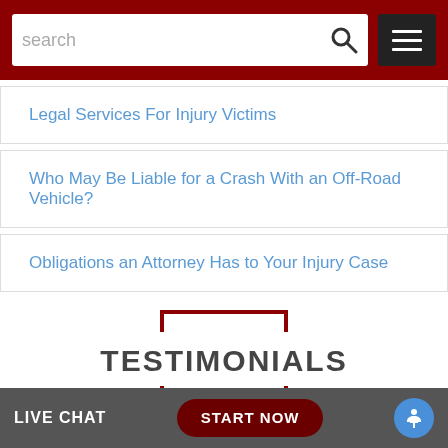search [search bar] [menu button]
Legal Services For Injury Victims
Who May Be Liable for a Crash With an Off-Road Vehicle?
Obligations an Attorney Has to Your Injury Case
TESTIMONIALS
LIVE CHAT   START NOW